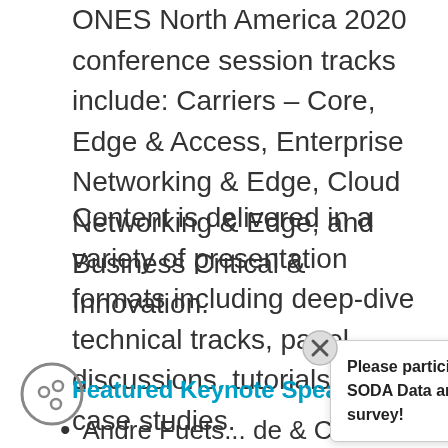ONES North America 2020 conference session tracks include: Carriers – Core, Edge & Access, Enterprise Networking & Edge, Cloud Networking & Edge, and Business Critical & Innovation.
Content is delivered in a variety of presentation formats including deep-dive technical tracks, panel discussions, tutorials, and case studies.
Featured Keynote Speakers Include:
Andre Fuets... de... & Chief Tec...
[Figure (other): Cookie consent icon — circular cookie with three dots]
Please participate in our 2022 SODA Data and Storage Trends survey!
[Figure (logo): The Linux Foundation logo]